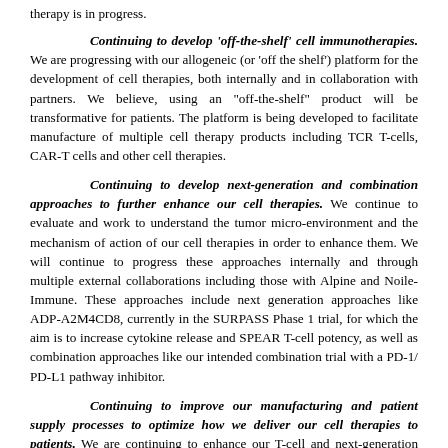therapy is in progress.
Continuing to develop ‘off-the-shelf’ cell immunotherapies. We are progressing with our allogeneic (or ‘off the shelf’) platform for the development of cell therapies, both internally and in collaboration with partners. We believe, using an “off-the-shelf” product will be transformative for patients. The platform is being developed to facilitate manufacture of multiple cell therapy products including TCR T-cells, CAR-T cells and other cell therapies.
Continuing to develop next-generation and combination approaches to further enhance our cell therapies. We continue to evaluate and work to understand the tumor micro-environment and the mechanism of action of our cell therapies in order to enhance them. We will continue to progress these approaches internally and through multiple external collaborations including those with Alpine and Noile-Immune. These approaches include next generation approaches like ADP-A2M4CD8, currently in the SURPASS Phase 1 trial, for which the aim is to increase cytokine release and SPEAR T-cell potency, as well as combination approaches like our intended combination trial with a PD-1/ PD-L1 pathway inhibitor.
Continuing to improve our manufacturing and patient supply processes to optimize how we deliver our cell therapies to patients. We are continuing to enhance our T-cell and next-generation manufacturing processes to all stages of the